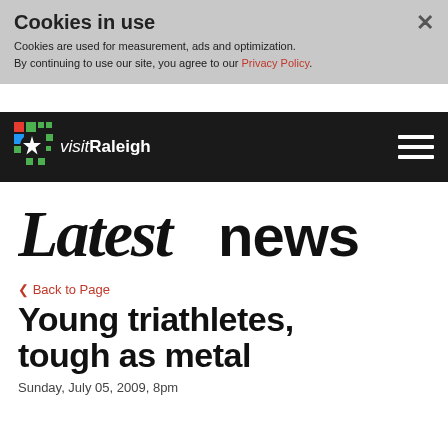Cookies in use
Cookies are used for measurement, ads and optimization. By continuing to use our site, you agree to our Privacy Policy.
[Figure (logo): visitRaleigh logo with colorful star icon on dark navigation bar]
Latest news
‹ Back to Page
Young triathletes, tough as metal
Sunday, July 05, 2009, 8pm